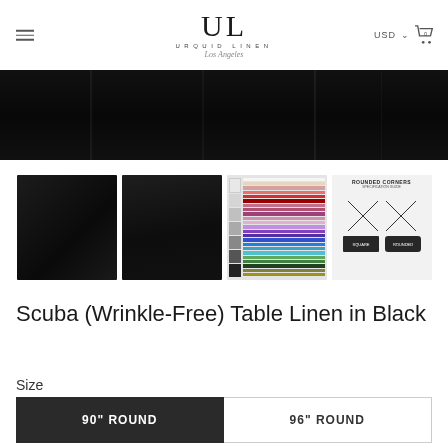[Figure (logo): Urquid Linen Los Angeles logo with hamburger menu and USD/cart icons]
[Figure (photo): Large hero image of black fabric/curtain textile]
[Figure (photo): Four product thumbnails: black round tablecloth, black scuba fabric close-up, color swatch chart, rounded corners diagram]
Scuba (Wrinkle-Free) Table Linen in Black
Size
90" ROUND
96" ROUND